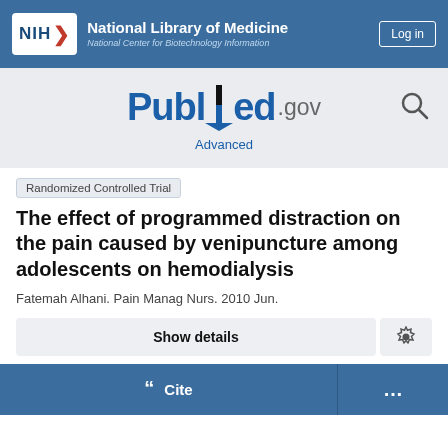NIH National Library of Medicine National Center for Biotechnology Information
[Figure (logo): PubMed.gov logo with search icon and Advanced link]
Randomized Controlled Trial
The effect of programmed distraction on the pain caused by venipuncture among adolescents on hemodialysis
Fatemah Alhani. Pain Manag Nurs. 2010 Jun.
Show details
Cite  ...